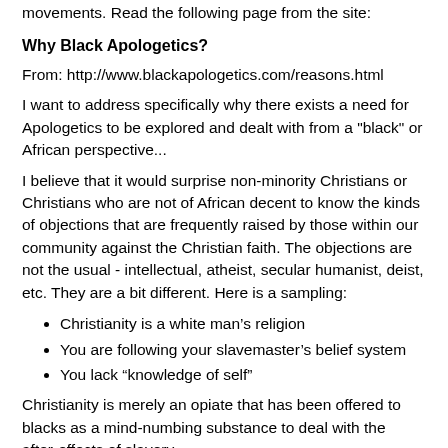movements. Read the following page from the site:
Why Black Apologetics?
From: http://www.blackapologetics.com/reasons.html
I want to address specifically why there exists a need for Apologetics to be explored and dealt with from a "black" or African perspective...
I believe that it would surprise non-minority Christians or Christians who are not of African decent to know the kinds of objections that are frequently raised by those within our community against the Christian faith. The objections are not the usual - intellectual, atheist, secular humanist, deist, etc. They are a bit different. Here is a sampling:
Christianity is a white man’s religion
You are following your slavemaster’s belief system
You lack “knowledge of self”
Christianity is merely an opiate that has been offered to blacks as a mind-numbing substance to deal with the after-effects of slavery
Many of these objections that are raised stem from the fact that the word of God was indeed perverted and used to subjugate African people. The purpose of this site is to separate the actions and the sins